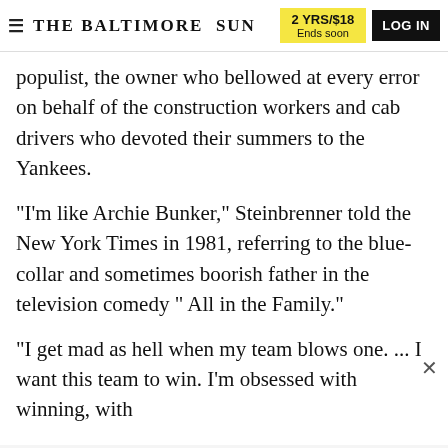THE BALTIMORE SUN | 2 YRS/$18 Ends soon | LOG IN
populist, the owner who bellowed at every error on behalf of the construction workers and cab drivers who devoted their summers to the Yankees.
"I'm like Archie Bunker," Steinbrenner told the New York Times in 1981, referring to the blue-collar and sometimes boorish father in the television comedy "All in the Family."
"I get mad as hell when my team blows one. ... I want this team to win. I'm obsessed with winning, with
ADVERTISEMENT
[Figure (other): Advertisement for Beer Bourbon and Bags event on October 13, 6-9 p.m., and Santa's Coming to Your House event December 3, 4, 10, 11. Features logos, QR code, and Santa Project branding. Contact: blossemsofhope.org, 443-538-0858.]